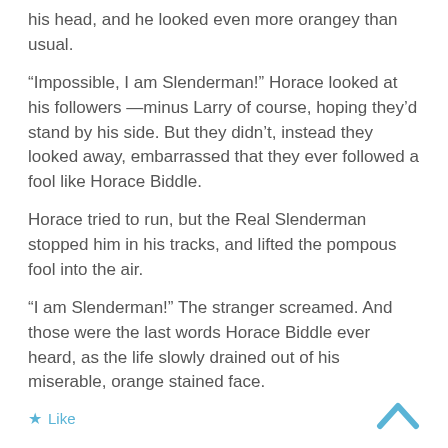his head, and he looked even more orangey than usual.
“Impossible, I am Slenderman!” Horace looked at his followers —minus Larry of course, hoping they’d stand by his side. But they didn’t, instead they looked away, embarrassed that they ever followed a fool like Horace Biddle.
Horace tried to run, but the Real Slenderman stopped him in his tracks, and lifted the pompous fool into the air.
“I am Slenderman!” The stranger screamed. And those were the last words Horace Biddle ever heard, as the life slowly drained out of his miserable, orange stained face.
Like